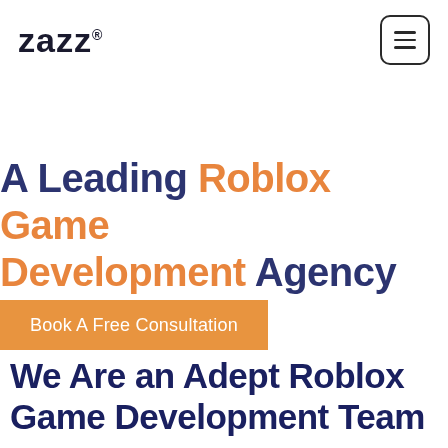[Figure (logo): ZAZZ logo with registered trademark symbol in dark navy/black bold font]
[Figure (other): Hamburger menu button icon with three horizontal lines inside a rounded square border]
A Leading Roblox Game Development Agency
Book A Free Consultation
We Are an Adept Roblox Game Development Team